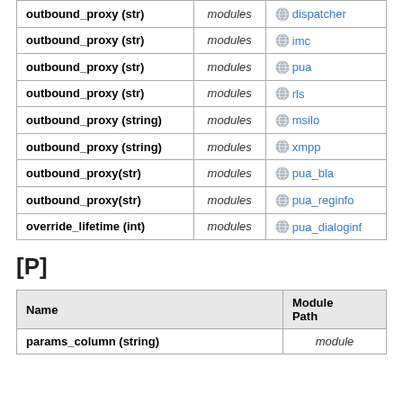| Name | Module Path |  |
| --- | --- | --- |
| outbound_proxy (str) | modules | dispatcher |
| outbound_proxy (str) | modules | imc |
| outbound_proxy (str) | modules | pua |
| outbound_proxy (str) | modules | rls |
| outbound_proxy (string) | modules | msilo |
| outbound_proxy (string) | modules | xmpp |
| outbound_proxy(str) | modules | pua_bla |
| outbound_proxy(str) | modules | pua_reginfo |
| override_lifetime (int) | modules | pua_dialoginf |
[P]
| Name | Module Path |
| --- | --- |
| params_column (string) | module |